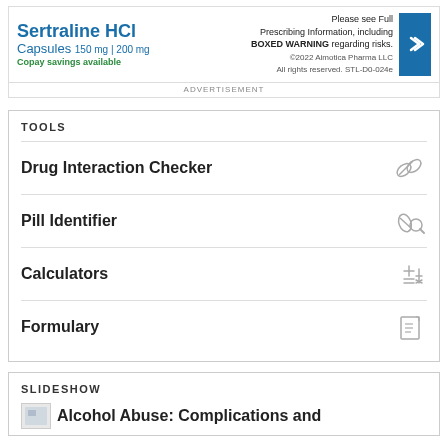[Figure (other): Advertisement for Sertraline HCl Capsules 150mg/200mg with copay savings and prescribing information notice. ©2022 Aimotica Pharma LLC STL-D0-024e]
ADVERTISEMENT
TOOLS
Drug Interaction Checker
Pill Identifier
Calculators
Formulary
SLIDESHOW
Alcohol Abuse: Complications and